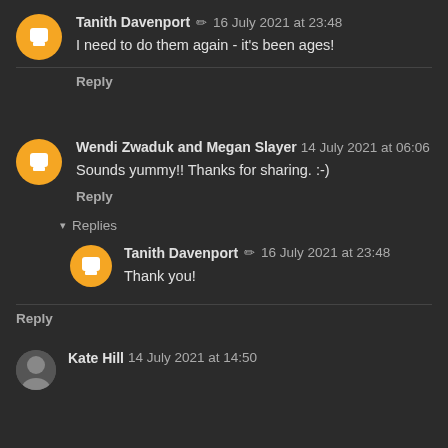Tanith Davenport ✏ 16 July 2021 at 23:48
I need to do them again - it's been ages!
Reply
Wendi Zwaduk and Megan Slayer 14 July 2021 at 06:06
Sounds yummy!! Thanks for sharing. :-)
Reply
▾ Replies
Tanith Davenport ✏ 16 July 2021 at 23:48
Thank you!
Reply
Kate Hill 14 July 2021 at 14:50